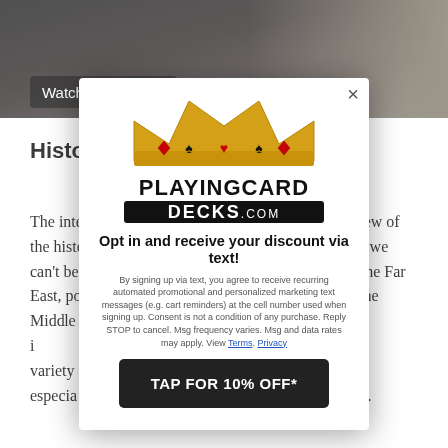[Figure (screenshot): Video thumbnail showing 'Watch on YouTube' badge over a dark background with a partial view of a person]
History of Playing Cards
The interview starts with Tom giving a broad overview of the history and development of playing cards. While we can't be certain of their true origins, this is likely in the Far East, possibly ... -style war ga... through the Mid... and that's w... be found i... aying cards w... h a variety ... also had va... re especia... s, and today's... esigns.
[Figure (logo): PlayingCardDecks.com popup modal with crown logo, opt-in text message offer, legal disclaimer, and 'TAP FOR 10% OFF*' button]